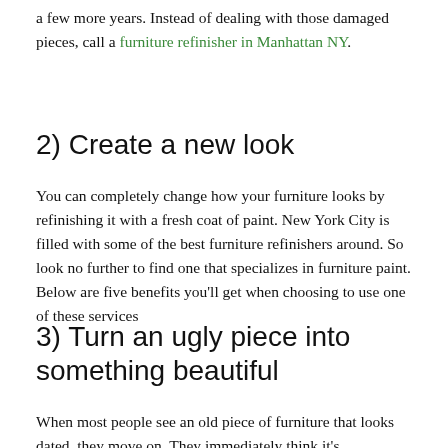a few more years. Instead of dealing with those damaged pieces, call a furniture refinisher in Manhattan NY.
2) Create a new look
You can completely change how your furniture looks by refinishing it with a fresh coat of paint. New York City is filled with some of the best furniture refinishers around. So look no further to find one that specializes in furniture paint. Below are five benefits you'll get when choosing to use one of these services
3) Turn an ugly piece into something beautiful
When most people see an old piece of furniture that looks dated, they move on. They immediately think it's too